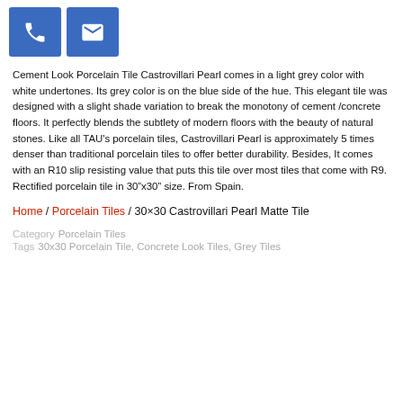[Figure (infographic): Two blue square icon buttons: a phone icon and an email/envelope icon]
Cement Look Porcelain Tile Castrovillari Pearl comes in a light grey color with white undertones. Its grey color is on the blue side of the hue. This elegant tile was designed with a slight shade variation to break the monotony of cement /concrete floors. It perfectly blends the subtlety of modern floors with the beauty of natural stones. Like all TAU's porcelain tiles, Castrovillari Pearl is approximately 5 times denser than traditional porcelain tiles to offer better durability. Besides, It comes with an R10 slip resisting value that puts this tile over most tiles that come with R9.  Rectified porcelain tile in 30"x30" size. From Spain.
Home / Porcelain Tiles / 30×30 Castrovillari Pearl Matte Tile
Category Porcelain Tiles
Tags 30x30 Porcelain Tile, Concrete Look Tiles, Grey Tiles